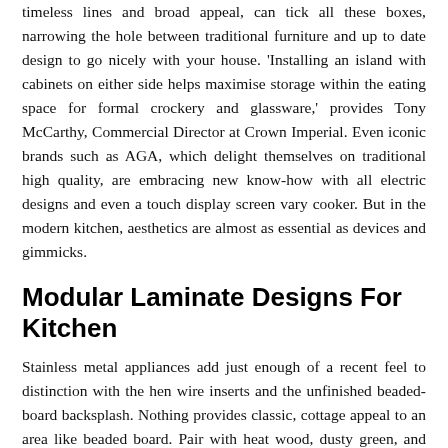timeless lines and broad appeal, can tick all these boxes, narrowing the hole between traditional furniture and up to date design to go nicely with your house. 'Installing an island with cabinets on either side helps maximise storage within the eating space for formal crockery and glassware,' provides Tony McCarthy, Commercial Director at Crown Imperial. Even iconic brands such as AGA, which delight themselves on traditional high quality, are embracing new know-how with all electric designs and even a touch display screen vary cooker. But in the modern kitchen, aesthetics are almost as essential as devices and gimmicks.
Modular Laminate Designs For Kitchen
Stainless metal appliances add just enough of a recent feel to distinction with the hen wire inserts and the unfinished beaded-board backsplash. Nothing provides classic, cottage appeal to an area like beaded board. Pair with heat wood, dusty green, and crisp white to finish the look.